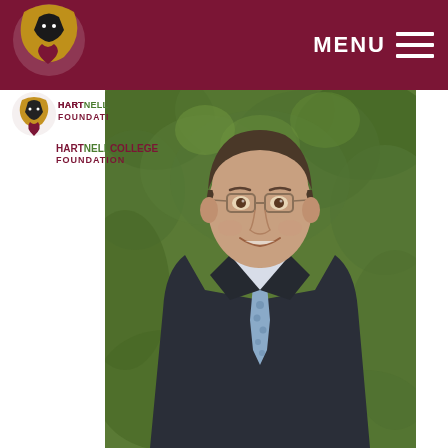MENU
[Figure (logo): Hartnell College Foundation logo with panther mascot and maroon/green text]
[Figure (photo): Professional headshot of a middle-aged man wearing a dark suit and light blue tie, smiling, photographed outdoors in front of green foliage]